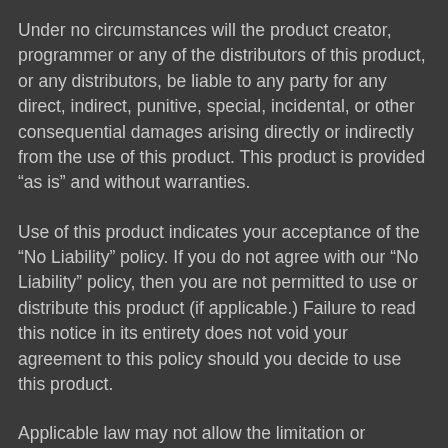Under no circumstances will the product creator, programmer or any of the distributors of this product, or any distributors, be liable to any party for any direct, indirect, punitive, special, incidental, or other consequential damages arising directly or indirectly from the use of this product. This product is provided “as is” and without warranties.
Use of this product indicates your acceptance of the “No Liability” policy. If you do not agree with our “No Liability” policy, then you are not permitted to use or distribute this product (if applicable.) Failure to read this notice in its entirety does not void your agreement to this policy should you decide to use this product.
Applicable law may not allow the limitation or exclusion of